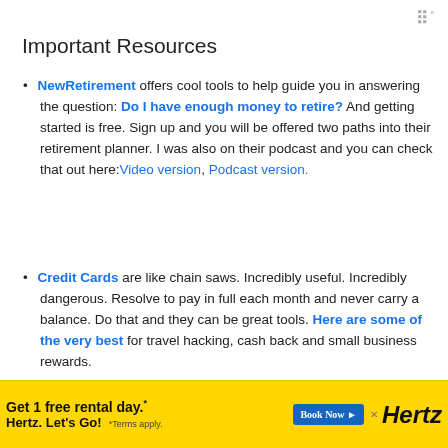|||°
Important Resources
NewRetirement offers cool tools to help guide you in answering the question: Do I have enough money to retire? And getting started is free. Sign up and you will be offered two paths into their retirement planner. I was also on their podcast and you can check that out here:Video version, Podcast version.
Credit Cards are like chain saws. Incredibly useful. Incredibly dangerous. Resolve to pay in full each month and never carry a balance. Do that and they can be great tools. Here are some of the very best for travel hacking, cash back and small business rewards.
[Figure (other): Hertz advertisement banner: Get 1 free rental day.* Book Now. Hertz. Let's Go! *Terms apply.]